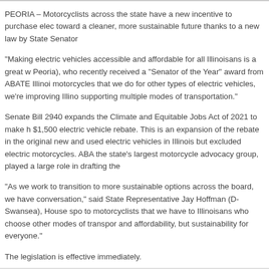PEORIA – Motorcyclists across the state have a new incentive to purchase elec toward a cleaner, more sustainable future thanks to a new law by State Senator
“Making electric vehicles accessible and affordable for all Illinoisans is a great w Peoria), who recently received a “Senator of the Year” award from ABATE Illinoi motorcycles that we do for other types of electric vehicles, we’re improving Illino supporting multiple modes of transportation.”
Senate Bill 2940 expands the Climate and Equitable Jobs Act of 2021 to make h $1,500 electric vehicle rebate. This is an expansion of the rebate in the original new and used electric vehicles in Illinois but excluded electric motorcycles. ABA the state’s largest motorcycle advocacy group, played a large role in drafting the
“As we work to transition to more sustainable options across the board, we have conversation,” said State Representative Jay Hoffman (D-Swansea), House spo to motorcyclists that we have to Illinoisans who choose other modes of transpor and affordability, but sustainability for everyone.”
The legislation is effective immediately.
Category: Press Releases